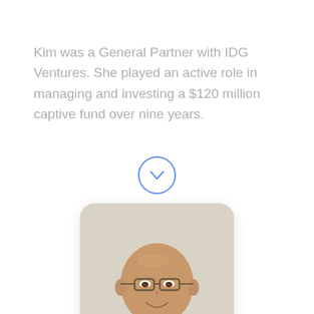Kim was a General Partner with IDG Ventures. She played an active role in managing and investing a $120 million captive fund over nine years.
[Figure (other): A circular chevron/down-arrow icon with a blue outline circle]
[Figure (photo): Headshot photo of a middle-aged bald man wearing glasses and a grey-blue polo shirt, smiling, with a light beige background. Photo has rounded corners.]